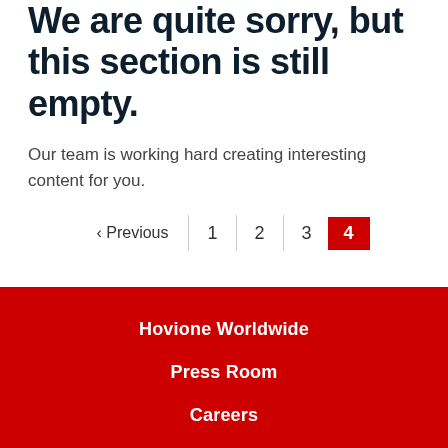We are quite sorry, but this section is still empty.
Our team is working hard creating interesting content for you.
‹ Previous  1  2  3  4
Hovione Worldwide
Press Room
Careers
Customers
Suppliers
Contacts
Sete Casas